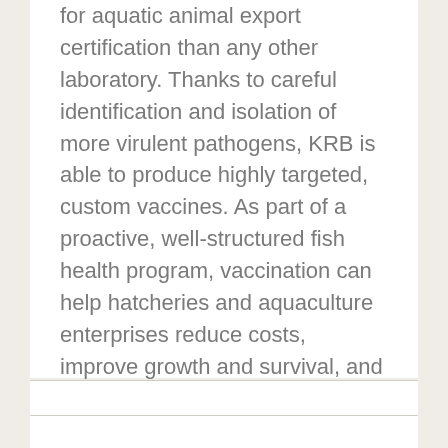for aquatic animal export certification than any other laboratory. Thanks to careful identification and isolation of more virulent pathogens, KRB is able to produce highly targeted, custom vaccines. As part of a proactive, well-structured fish health program, vaccination can help hatcheries and aquaculture enterprises reduce costs, improve growth and survival, and improve their overall sustainability